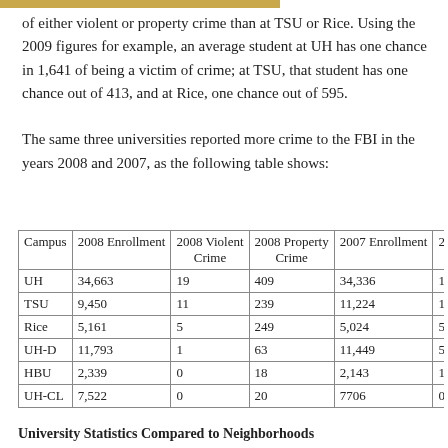of either violent or property crime than at TSU or Rice. Using the 2009 figures for example, an average student at UH has one chance in 1,641 of being a victim of crime; at TSU, that student has one chance out of 413, and at Rice, one chance out of 595.
The same three universities reported more crime to the FBI in the years 2008 and 2007, as the following table shows:
| Campus | 2008 Enrollment | 2008 Violent Crime | 2008 Property Crime | 2007 Enrollment | 2007 Violent Crime |
| --- | --- | --- | --- | --- | --- |
| UH | 34,663 | 19 | 409 | 34,336 | 17 |
| TSU | 9,450 | 11 | 239 | 11,224 | 15 |
| Rice | 5,161 | 5 | 249 | 5,024 | 5 |
| UH-D | 11,793 | 1 | 63 | 11,449 | 5 |
| HBU | 2,339 | 0 | 18 | 2,143 | 1 |
| UH-CL | 7,522 | 0 | 20 | 7706 | 0 |
University Statistics Compared to Neighborhoods